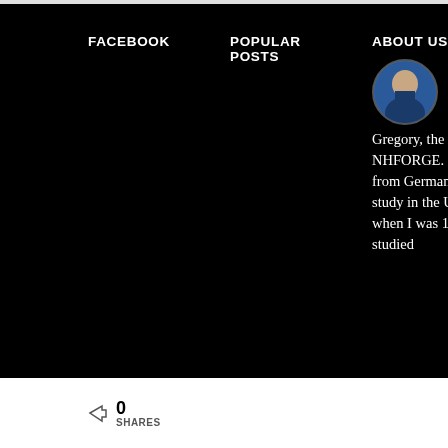FACEBOOK
POPULAR POSTS
ABOUT US
Hello, I am Gregory, the owner of NHFORGE. I am originally from Germany, but I came to study in the United States when I was 17. I have studied
0
SHARES